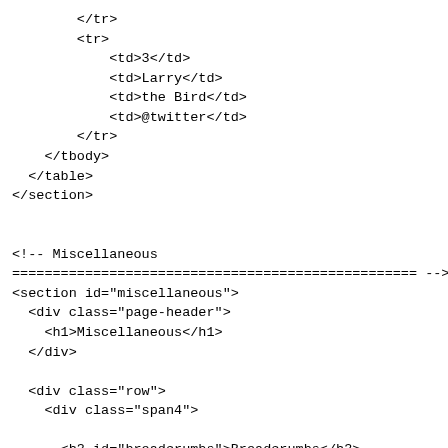</tr>
        <tr>
            <td>3</td>
            <td>Larry</td>
            <td>the Bird</td>
            <td>@twitter</td>
        </tr>
    </tbody>
  </table>
</section>


<!-- Miscellaneous
================================================== -->
<section id="miscellaneous">
  <div class="page-header">
    <h1>Miscellaneous</h1>
  </div>

  <div class="row">
    <div class="span4">

      <h3 id="breadcrumbs">Breadcrumbs</h3>
      <ul class="breadcrumb">
        <li class="active">Home</li>
      </ul>
      <ul class="breadcrumb">
        <li><a href="#">Home</a> <span
class="divider">/</span></li>
        <li><a href="#">Library</a> <span